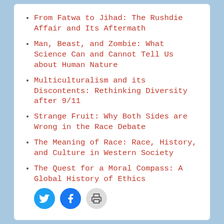From Fatwa to Jihad: The Rushdie Affair and Its Aftermath
Man, Beast, and Zombie: What Science Can and Cannot Tell Us about Human Nature
Multiculturalism and its Discontents: Rethinking Diversity after 9/11
Strange Fruit: Why Both Sides are Wrong in the Race Debate
The Meaning of Race: Race, History, and Culture in Western Society
The Quest for a Moral Compass: A Global History of Ethics
[Figure (infographic): Social sharing buttons: Twitter (blue bird icon), Facebook (blue f icon), and Print (grey printer icon)]